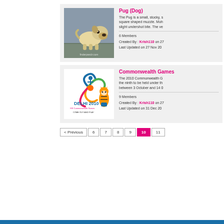[Figure (photo): Photo of a Pug dog standing on pavement, with finderpandz.com watermark]
Pug (Dog)
The Pug is a small, stocky, square shaped muzzle. Moh slight undershot bite. The ve
6 Members
Created By : Krish110 on 27
Last Updated on 27 Nov 20
[Figure (logo): Delhi 2010 Commonwealth Games logo with mascot tiger]
Commonwealth Games
The 2010 Commonwealth G the ninth to be held under th between 3 October and 14 0
9 Members
Created By : Krish110 on 27
Last Updated on 31 Dec 20
< Previous  6  7  8  9  10  11